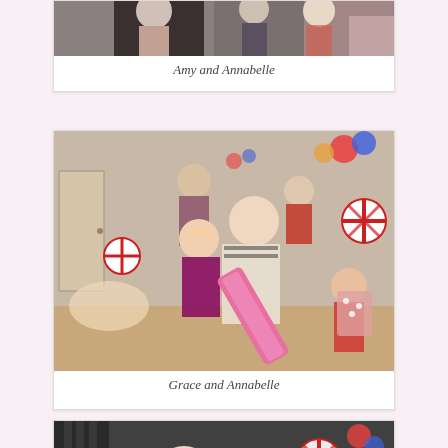[Figure (photo): Partial photo at the top of page — people at what appears to be a party venue, cropped]
Amy and Annabelle
[Figure (photo): Group photo of children and adults at a party, balloons and decorations visible, one child holding a large toy/poster]
Grace and Annabelle
[Figure (photo): Partial photo at the bottom — people at a party with decorations, partially cut off]